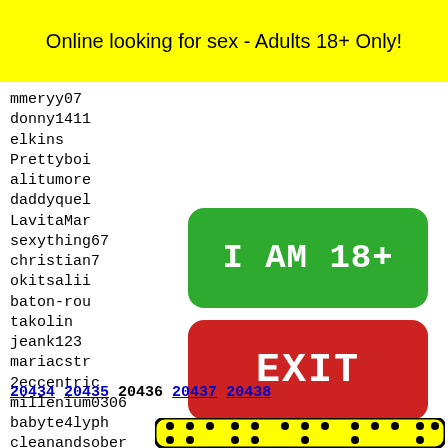Online looking for sex - Adults 18+ Only!
mmeryy07
donny1411
elkins
Prettyboi
alitumore
daddyquel
LavitaMar
sexything67
christian7
okitsalii
baton-rou
takolin
jeank123
mariacstr
2eccentric
millenium0306
babyte4lyph
cleanandsober
miiiiriiamm
Aar%25
pramss
jhonst
natash
dawson
jonsli
[Figure (other): Green button with text I AM 18+]
[Figure (other): Red button with text EXIT]
20434 20435 20436 20437 20438
[Figure (illustration): Snapchat ghost logo on yellow background with black dots pattern]